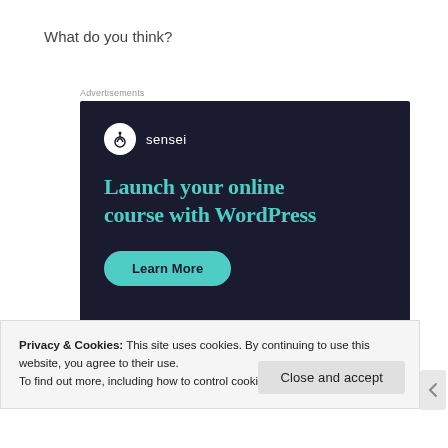What do you think?
Advertisements
[Figure (infographic): Sensei advertisement on dark navy background. Shows Sensei logo (tree icon in white circle) with brand name 'sensei', headline 'Launch your online course with WordPress' in teal/green color, and a 'Learn More' button in teal.]
Privacy & Cookies: This site uses cookies. By continuing to use this website, you agree to their use.
To find out more, including how to control cookies, see here: Cookie Policy
Close and accept